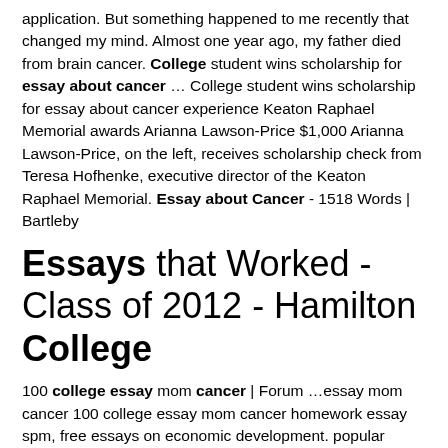application. But something happened to me recently that changed my mind. Almost one year ago, my father died from brain cancer. College student wins scholarship for essay about cancer … College student wins scholarship for essay about cancer experience Keaton Raphael Memorial awards Arianna Lawson-Price $1,000 Arianna Lawson-Price, on the left, receives scholarship check from Teresa Hofhenke, executive director of the Keaton Raphael Memorial. Essay about Cancer - 1518 Words | Bartleby
Essays that Worked - Class of 2012 - Hamilton College
100 college essay mom cancer | Forum …essay mom cancer 100 college essay mom cancer homework essay spm, free essays on economic development. popular essay Lung Cancer: Cause and Effect Essay | AcademicHelp.net Ask our experts to get writing help. Submit your essay for analysis.